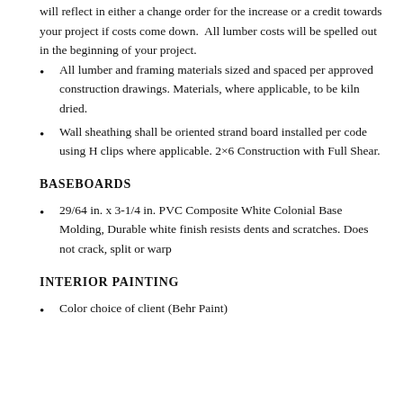will reflect in either a change order for the increase or a credit towards your project if costs come down. All lumber costs will be spelled out in the beginning of your project.
All lumber and framing materials sized and spaced per approved construction drawings. Materials, where applicable, to be kiln dried.
Wall sheathing shall be oriented strand board installed per code using H clips where applicable. 2×6 Construction with Full Shear.
BASEBOARDS
29/64 in. x 3-1/4 in. PVC Composite White Colonial Base Molding, Durable white finish resists dents and scratches. Does not crack, split or warp
INTERIOR PAINTING
Color choice of client (Behr Paint)